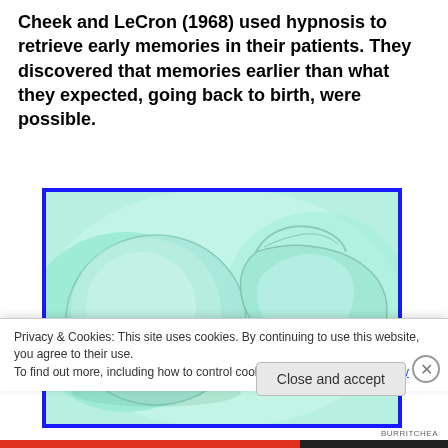Cheek and LeCron (1968) used hypnosis to retrieve early memories in their patients. They discovered that memories earlier than what they expected, going back to birth, were possible.
[Figure (photo): Microscope image showing two cell-like structures (possibly early embryo or egg cells) with greenish tint, one whole and one open/cup-shaped, against a light green background, framed with a dark blue border.]
Privacy & Cookies: This site uses cookies. By continuing to use this website, you agree to their use.
To find out more, including how to control cookies, see here: Cookie Policy
Close and accept